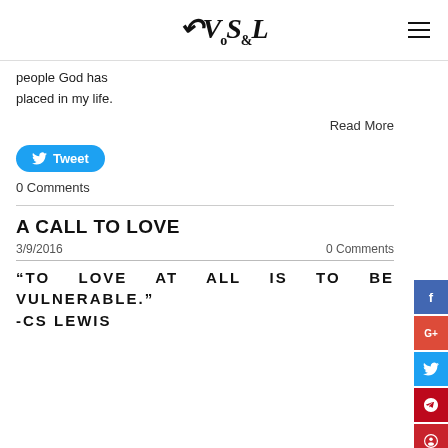VSL (logo)
people God has placed in my life.
Read More
[Figure (other): Twitter Tweet button (blue rounded rectangle with bird icon and 'Tweet' text)]
0 Comments
A CALL TO LOVE
3/9/2016   0 Comments
“TO LOVE AT ALL IS TO BE VULNERABLE.” -CS LEWIS